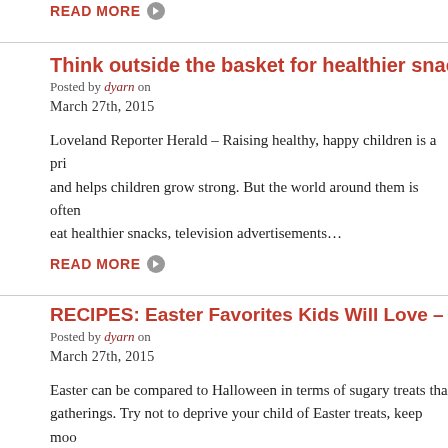READ MORE ▶
Think outside the basket for healthier snacks for childr
Posted by dyarn on
March 27th, 2015
Loveland Reporter Herald – Raising healthy, happy children is a pri and helps children grow strong. But the world around them is often eat healthier snacks, television advertisements…
READ MORE ▶
RECIPES: Easter Favorites Kids Will Love – Parent Palace
Posted by dyarn on
March 27th, 2015
Easter can be compared to Halloween in terms of sugary treats tha gatherings.  Try not to deprive your child of Easter treats, keep moo controlled portion of candy on…